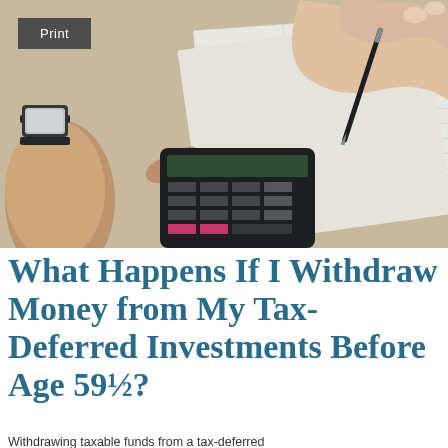[Figure (photo): Two people at a desk with a calculator and financial documents. One person wearing a watch is pressing buttons on a black calculator; another person is writing with a pen on columnar financial papers.]
What Happens If I Withdraw Money from My Tax-Deferred Investments Before Age 59½?
Withdrawing taxable funds from a tax-deferred